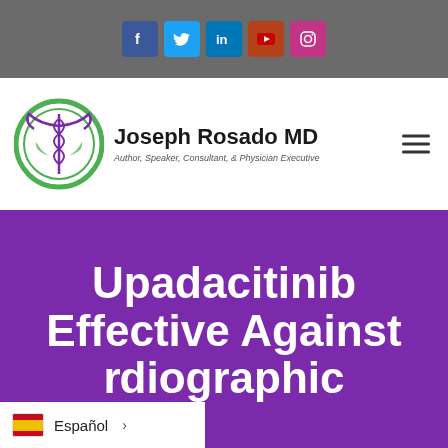Social media icons bar: Facebook, Twitter, LinkedIn, YouTube, Instagram
[Figure (logo): Joseph Rosado MD logo with caduceus medical symbol in green circle, text: Joseph Rosado MD, Author, Speaker, Consultant, & Physician Executive]
Upadacitinib Effective Against [Radio]graphic
Español >